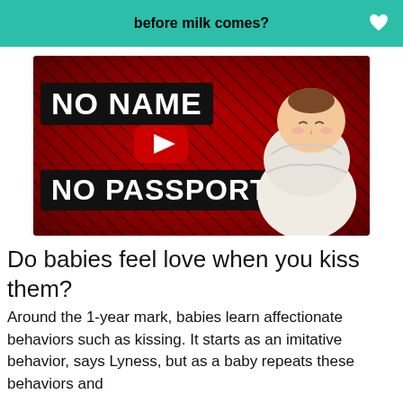before milk comes?
[Figure (screenshot): YouTube video thumbnail showing an illustrated swaddled baby with text 'NO NAME NO PASSPORT' on a red background, with a YouTube play button overlay]
Do babies feel love when you kiss them?
Around the 1-year mark, babies learn affectionate behaviors such as kissing. It starts as an imitative behavior, says Lyness, but as a baby repeats these behaviors and